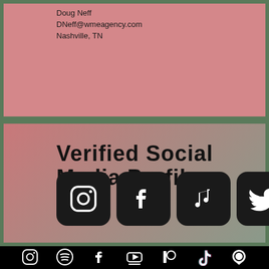Doug Neff
DNeff@wmeagency.com
Nashville, TN
Verified Social Media Profiles
[Figure (infographic): Five social media icons in dark rounded squares: Instagram, Facebook, Music/iTunes, Twitter, TikTok (greyed out)]
[Figure (infographic): Seven small white social media icons on black background: Instagram, Spotify, Facebook, YouTube, Patreon, TikTok, Mint/leaf icon]